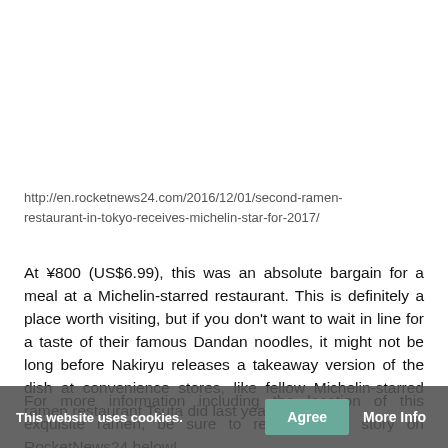http://en.rocketnews24.com/2016/12/01/second-ramen-restaurant-in-tokyo-receives-michelin-star-for-2017/
At ¥800 (US$6.99), this was an absolute bargain for a meal at a Michelin-starred restaurant. This is definitely a place worth visiting, but if you don't want to wait in line for a taste of their famous Dandan noodles, it might not be long before Nakiryu releases a takeaway version of the dish at convenience stores, like fellow Michelin-starred ramen restaurant Tsuta did last year!
For more information including the location of this exquisite ramen, be sure to read the full story on RocketNews24 below!
This website uses cookies.